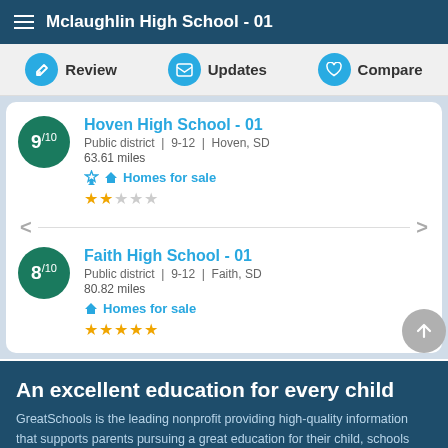Mclaughlin High School - 01
Review | Updates | Compare
Hoven High School - 01
Public district | 9-12 | Hoven, SD
63.61 miles
Homes for sale
Rating: 9/10, Stars: 2/5
Faith High School - 01
Public district | 9-12 | Faith, SD
80.82 miles
Homes for sale
Rating: 8/10, Stars: 5/5
An excellent education for every child
GreatSchools is the leading nonprofit providing high-quality information that supports parents pursuing a great education for their child, schools striving